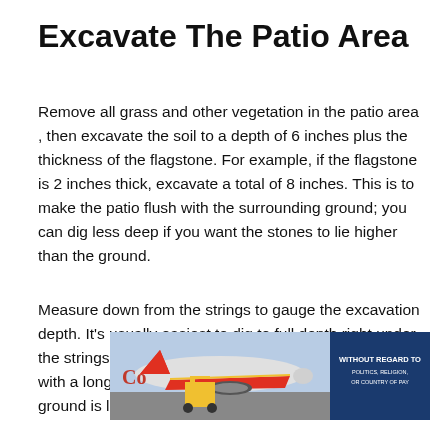Excavate The Patio Area
Remove all grass and other vegetation in the patio area , then excavate the soil to a depth of 6 inches plus the thickness of the flagstone. For example, if the flagstone is 2 inches thick, excavate a total of 8 inches. This is to make the patio flush with the surrounding ground; you can dig less deep if you want the stones to lie higher than the ground.
Measure down from the strings to gauge the excavation depth. It’s usually easiest to dig to full depth right under the strings, then clear out the soil in between, checking with a long, straight 2x4 and a level to make sure the ground is level
[Figure (photo): Advertisement banner showing an airplane being loaded with cargo, with text 'WITHOUT REGARD TO POLITICS, RELIGION, OR COUNTRY OF PAY' on a dark blue background on the right side.]